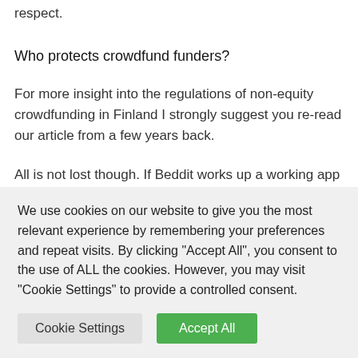respect.
Who protects crowdfund funders?
For more insight into the regulations of non-equity crowdfunding in Finland I strongly suggest you re-read our article from a few years back.
All is not lost though. If Beddit works up a working app and device, delivers these to their customers as quickly as possible, we might start seeing an inflow of positive feedback
We use cookies on our website to give you the most relevant experience by remembering your preferences and repeat visits. By clicking "Accept All", you consent to the use of ALL the cookies. However, you may visit "Cookie Settings" to provide a controlled consent.